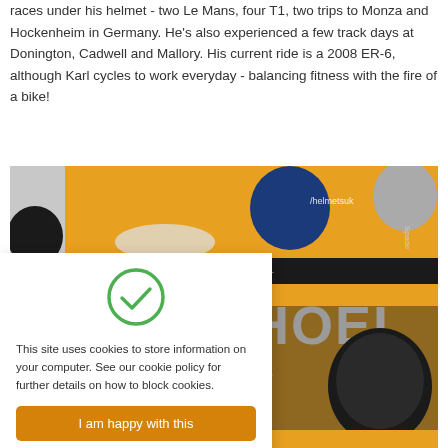races under his helmet - two Le Mans, four T1, two trips to Monza and Hockenheim in Germany. He's also experienced a few track days at Donington, Cadwell and Mallory. His current ride is a 2008 ER-6, although Karl cycles to work everyday - balancing fitness with the fire of a bike!
[Figure (photo): A motorcycle helmet shop scene showing helmets on display with an orange background. A Shoei brand sign is visible. The image is partially covered by a cookie consent dialog.]
This site uses cookies to store information on your computer. See our cookie policy for further details on how to block cookies.
I am happy with this